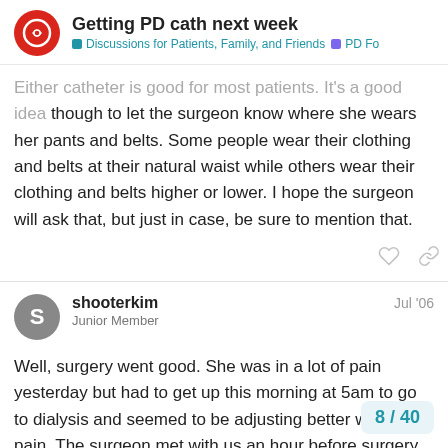Getting PD cath next week | Discussions for Patients, Family, and Friends | PD Fo
...Either catheter is good for most patients. It's a good idea though to let the surgeon know where she wears her pants and belts. Some people wear their clothing and belts at their natural waist while others wear their clothing and belts higher or lower. I hope the surgeon will ask that, but just in case, be sure to mention that.
shooterkim   Jul '06
Junior Member

Well, surgery went good. She was in a lot of pain yesterday but had to get up this morning at 5am to go to dialysis and seemed to be adjusting better with the pain. The surgeon met with us an hour before surgery and told us that the doctor (neff) told him no to the presternal cath. I knew his hands were tied because he basically, works for them. He did though, n... out much higher than he normally would a...
8 / 40